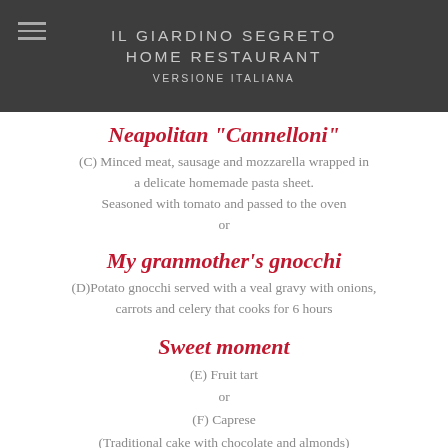IL GIARDINO SEGRETO HOME RESTAURANT VERSIONE ITALIANA
Neapolitan "Cannelloni"
(C) Minced meat, sausage and mozzarella wrapped in a delicate homemade pasta sheet. Seasoned with tomato and passed to the oven or
My granmother's gnocchi
(D)Potato gnocchi served with a veal gravy with onions, carrots and celery that cooks for 6 hours
Sweet moment
(E) Fruit tart
or
(F) Caprese
(Traditional cake with chocolate and almonds)